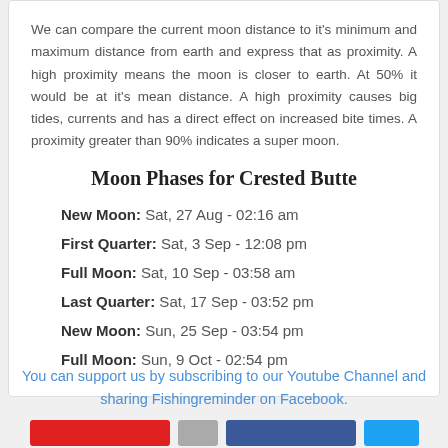We can compare the current moon distance to it's minimum and maximum distance from earth and express that as proximity. A high proximity means the moon is closer to earth. At 50% it would be at it's mean distance. A high proximity causes big tides, currents and has a direct effect on increased bite times. A proximity greater than 90% indicates a super moon.
Moon Phases for Crested Butte
New Moon: Sat, 27 Aug - 02:16 am
First Quarter: Sat, 3 Sep - 12:08 pm
Full Moon: Sat, 10 Sep - 03:58 am
Last Quarter: Sat, 17 Sep - 03:52 pm
New Moon: Sun, 25 Sep - 03:54 pm
Full Moon: Sun, 9 Oct - 02:54 pm
You can support us by subscribing to our Youtube Channel and sharing Fishingreminder on Facebook.